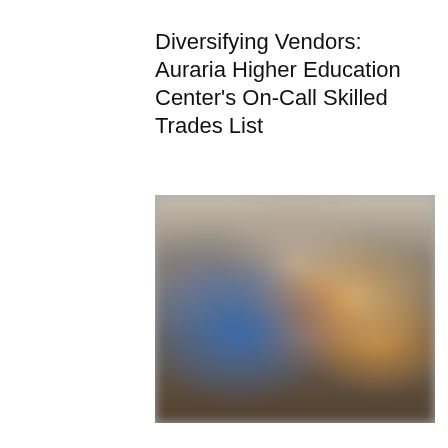Diversifying Vendors: Auraria Higher Education Center's On-Call Skilled Trades List
[Figure (photo): A blurred photograph showing several people seated around a table, likely in a meeting or classroom setting. The image is intentionally blurred/pixelated to obscure identities.]